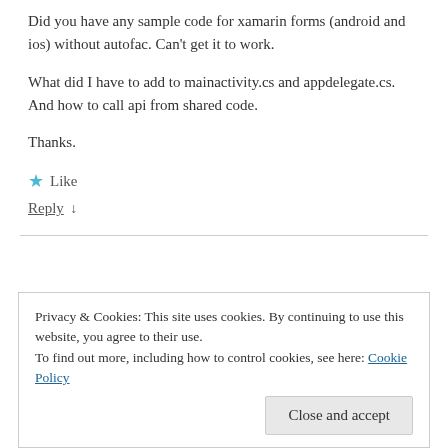Did you have any sample code for xamarin forms (android and ios) without autofac. Can't get it to work.
What did I have to add to mainactivity.cs and appdelegate.cs. And how to call api from shared code.
Thanks.
★ Like
Reply ↓
Privacy & Cookies: This site uses cookies. By continuing to use this website, you agree to their use.
To find out more, including how to control cookies, see here: Cookie Policy